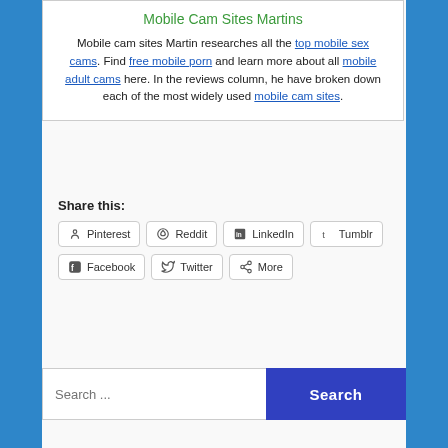Mobile Cam Sites Martins
Mobile cam sites Martin researches all the top mobile sex cams. Find free mobile porn and learn more about all mobile adult cams here. In the reviews column, he have broken down each of the most widely used mobile cam sites.
Share this:
Pinterest
Reddit
LinkedIn
Tumblr
Facebook
Twitter
More
Search ...